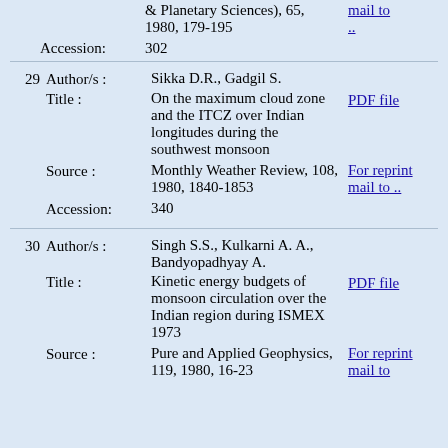& Planetary Sciences), 65, 1980, 179-195
mail to ..
Accession: 302
29 Author/s: Sikka D.R., Gadgil S. | Title: On the maximum cloud zone and the ITCZ over Indian longitudes during the southwest monsoon | PDF file | Source: Monthly Weather Review, 108, 1980, 1840-1853 | For reprint mail to .. | Accession: 340
30 Author/s: Singh S.S., Kulkarni A. A., Bandyopadhyay A. | Title: Kinetic energy budgets of monsoon circulation over the Indian region during ISMEX 1973 | PDF file | Source: Pure and Applied Geophysics, 119, 1980, 16-23 | For reprint mail to